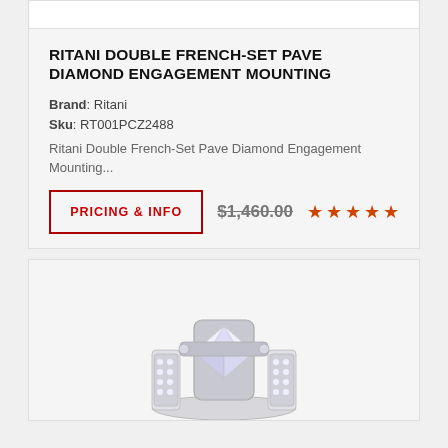RITANI DOUBLE FRENCH-SET PAVE DIAMOND ENGAGEMENT MOUNTING
Brand: Ritani
Sku: RT001PCZ2488
Ritani Double French-Set Pave Diamond Engagement Mounting...
PRICING & INFO
$1,460.00
[Figure (photo): Partial view of a diamond engagement ring (silver/white gold with pave diamonds), photographed from above, bottom portion of the ring visible]